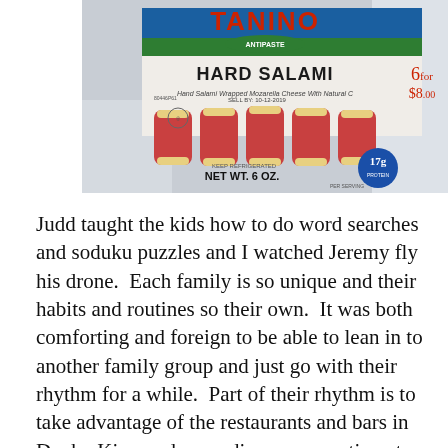[Figure (photo): A photograph of a package of Tanino Antipaste Hard Salami with cheese pieces, NET WT. 6 OZ., showing salami rolls and yellow cheese cubes in packaging.]
Judd taught the kids how to do word searches and soduku puzzles and I watched Jeremy fly his drone.  Each family is so unique and their habits and routines so their own.  It was both comforting and foreign to be able to lean in to another family group and just go with their rhythm for a while.  Part of their rhythm is to take advantage of the restaurants and bars in Duck.  Kim made us a dinner reservation at the